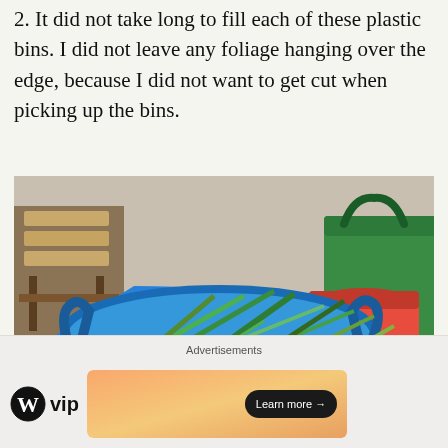2. It did not take long to fill each of these plastic bins. I did not leave any foliage hanging over the edge, because I did not want to get cut when picking up the bins.
[Figure (photo): A blue plastic bin filled with cut grass and foliage. In the background, a red bin and a green bin are visible, along with a wooden bench.]
Advertisements
[Figure (logo): WordPress VIP logo and an advertisement banner with a 'Learn more' button on a gradient orange/peach background.]